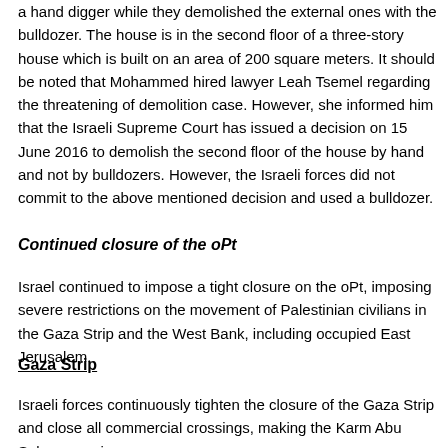a hand digger while they demolished the external ones with the bulldozer. The house is in the second floor of a three-story house which is built on an area of 200 square meters. It should be noted that Mohammed hired lawyer Leah Tsemel regarding the threatening of demolition case. However, she informed him that the Israeli Supreme Court has issued a decision on 15 June 2016 to demolish the second floor of the house by hand and not by bulldozers. However, the Israeli forces did not commit to the above mentioned decision and used a bulldozer.
Continued closure of the oPt
Israel continued to impose a tight closure on the oPt, imposing severe restrictions on the movement of Palestinian civilians in the Gaza Strip and the West Bank, including occupied East Jerusalem.
Gaza Strip
Israeli forces continuously tighten the closure of the Gaza Strip and close all commercial crossings, making the Karm Abu Salem crossing